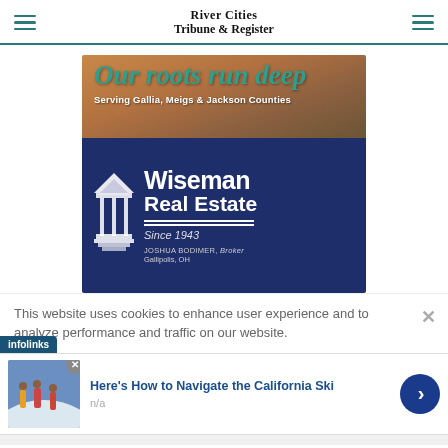River Cities Tribune & Register
[Figure (advertisement): Wiseman Real Estate ad. Top section has tan/brown background with italic teal text 'Our roots run deep' and subtitle 'Serving Gallia, Meigs & Jackson Counties'. Bottom section is dark navy blue with gazebo icon and white bold text 'Wiseman Real Estate Since 1943' with 'JOSHUA BODIMER, Broker' and 'Gallipolis, OH'.]
This website uses cookies to enhance user experience and to analyze performance and traffic on our website.
[Figure (advertisement): Infolinks ad widget showing a ski scene photo with headline 'Here’s How to Navigate the California Ski' and subtext 'n/a', with a blue arrow button on the right.]